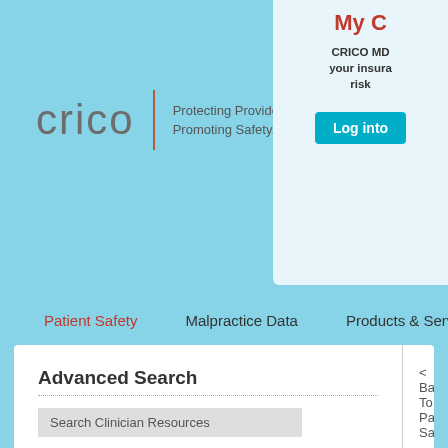[Figure (logo): CRICO logo with tagline 'Protecting Providers. Promoting Safety.']
My C
CRICO MD your insura risk
Log into
Patient Safety  Malpractice Data  Products & Services  About
Advanced Search
Search Clinician Resources
All  Topic
All  Specialty
All  Content Type
UPDATE SELECTION
RESET SEARCH CRITERIA
< Back To Patient Safety
Narrow Dia
Related to: Communicatio